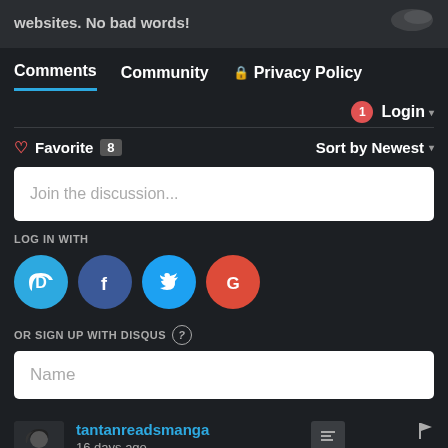websites. No bad words!
Comments  Community  🔒 Privacy Policy
1  Login ▾
♡ Favorite  8    Sort by Newest ▾
Join the discussion...
LOG IN WITH
[Figure (infographic): Social login buttons: Disqus (D), Facebook (f), Twitter bird, Google (G)]
OR SIGN UP WITH DISQUS ?
Name
tantanreadsmanga
16 days ago
2000